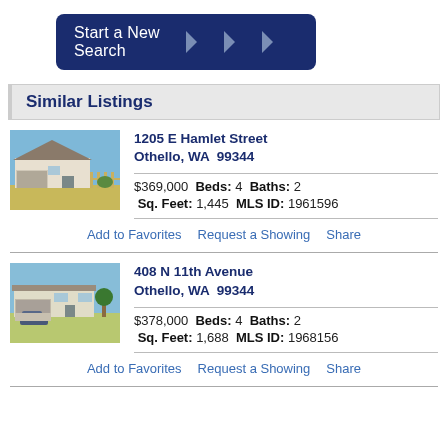[Figure (other): Start a New Search button with dark navy background and chevron arrows]
Similar Listings
[Figure (photo): Photo of a single-story ranch home at 1205 E Hamlet Street, Othello WA]
1205 E Hamlet Street
Othello, WA  99344
$369,000   Beds: 4   Baths: 2
Sq. Feet: 1,445   MLS ID: 1961596
Add to Favorites   Request a Showing   Share
[Figure (photo): Photo of a single-story ranch home at 408 N 11th Avenue, Othello WA]
408 N 11th Avenue
Othello, WA  99344
$378,000   Beds: 4   Baths: 2
Sq. Feet: 1,688   MLS ID: 1968156
Add to Favorites   Request a Showing   Share